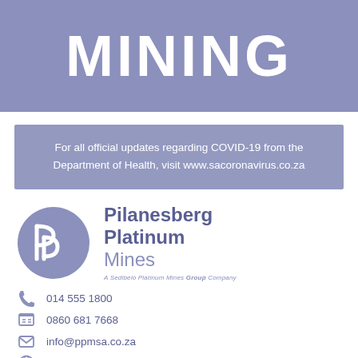MINING
For all official updates regarding COVID-19 from the Department of Health, visit www.sacoronavirus.co.za
[Figure (logo): Pilanesberg Platinum Mines logo — circular emblem with stylized P symbol, company name 'Pilanesberg Platinum Mines' and tagline 'A Sedibelo Platinum Mines Group Company']
014 555 1800
0860 681 7668
info@ppmsa.co.za
www.ppmsa.co.za
@ppminesa